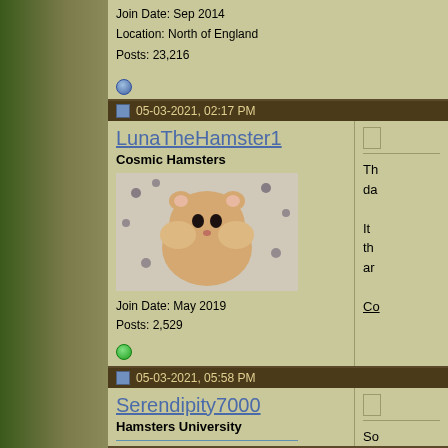Join Date: Sep 2014
Location: North of England
Posts: 23,216
05-03-2021, 02:17 PM
LunaTheHamster1
Cosmic Hamsters
[Figure (photo): Photo of a hamster on a patterned blanket]
Join Date: May 2019
Posts: 2,529
05-03-2021, 05:58 PM
Serendipity7000
Hamsters University
[Figure (photo): Photo of a hamster with blue background]